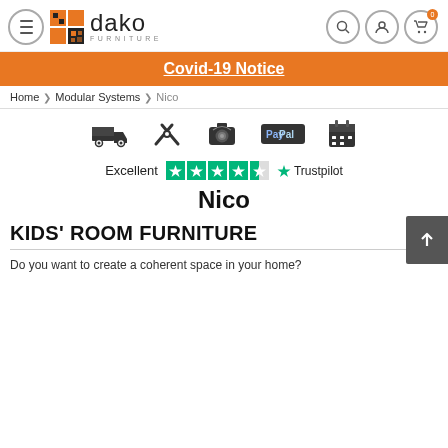[Figure (logo): Dako Furniture logo with grid icon and text]
Covid-19 Notice
Home > Modular Systems > Nico
[Figure (infographic): Row of service icons: delivery truck, tools, 360 camera, PayPal, calendar]
[Figure (infographic): Trustpilot rating: Excellent with 4.5 stars and Trustpilot logo]
Nico
KIDS' ROOM FURNITURE
Do you want to create a coherent space in your home?